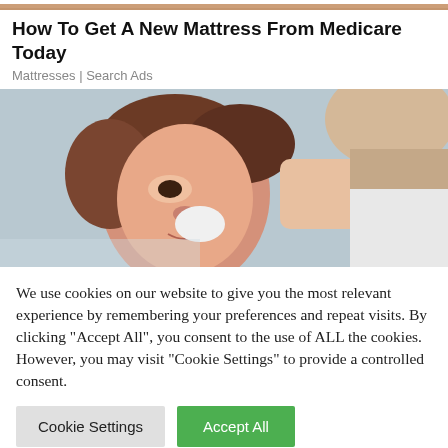[Figure (photo): Top strip showing a partial image with warm beige/brown tones, appears to be a mattress or bedding advertisement image]
How To Get A New Mattress From Medicare Today
Mattresses | Search Ads
[Figure (photo): A medical professional or caregiver administering eye drops to an older woman patient. The patient has short brown hair and is looking upward while drops are applied.]
We use cookies on our website to give you the most relevant experience by remembering your preferences and repeat visits. By clicking "Accept All", you consent to the use of ALL the cookies. However, you may visit "Cookie Settings" to provide a controlled consent.
Cookie Settings
Accept All